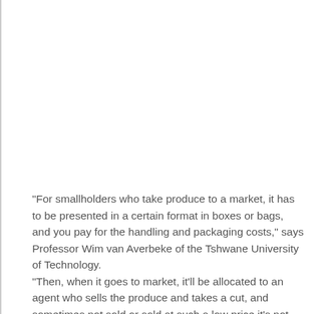"For smallholders who take produce to a market, it has to be presented in a certain format in boxes or bags, and you pay for the handling and packaging costs," says Professor Wim van Averbeke of the Tshwane University of Technology. "Then, when it goes to market, it'll be allocated to an agent who sells the produce and takes a cut, and sometimes not sold or sold at such a low price it's not worth it." Mobile apps for farmers in rural Africa aren't new. For the past